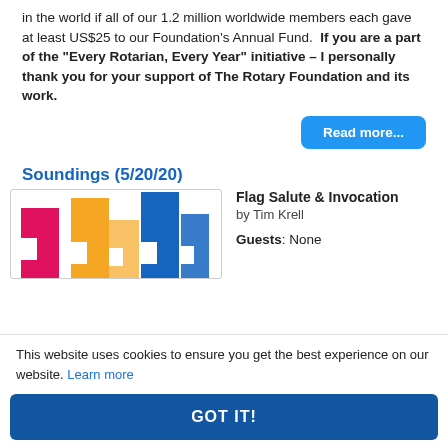in the world if all of our 1.2 million worldwide members each gave at least US$25 to our Foundation's Annual Fund. If you are a part of the "Every Rotarian, Every Year" initiative – I personally thank you for your support of The Rotary Foundation and its work.
Read more...
Soundings (5/20/20)
[Figure (illustration): Colorful building-like bar chart graphic with pink, orange, and blue stylized columns]
Flag Salute & Invocation
by Tim Krell

Guests: None
This website uses cookies to ensure you get the best experience on our website. Learn more
GOT IT!